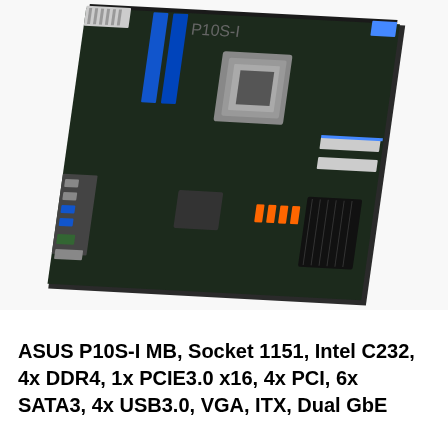[Figure (photo): Photo of an ASUS P10S-I Mini-ITX server motherboard shot at an angle, showing the PCB with CPU socket, blue DDR4 RAM slots, PCIe slot, SATA connectors, I/O ports including USB3.0, VGA, and dual GbE LAN ports, with blue and black heatsinks visible.]
ASUS P10S-I MB, Socket 1151, Intel C232, 4x DDR4, 1x PCIE3.0 x16, 4x PCI, 6x SATA3, 4x USB3.0, VGA, ITX, Dual GbE